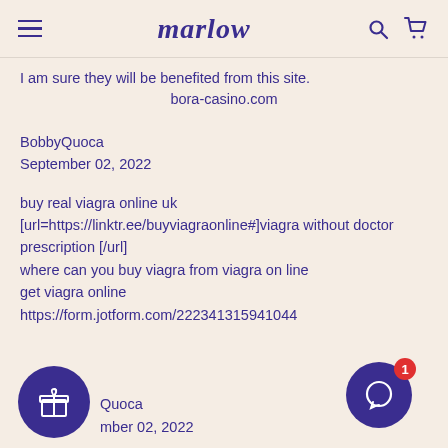marlow
I am sure they will be benefited from this site.
bora-casino.com
BobbyQuoca
September 02, 2022
buy real viagra online uk
[url=https://linktr.ee/buyviagraonline#]viagra without doctor prescription [/url]
where can you buy viagra from viagra on line
get viagra online
https://form.jotform.com/222341315941044
Quoca
mber 02, 2022